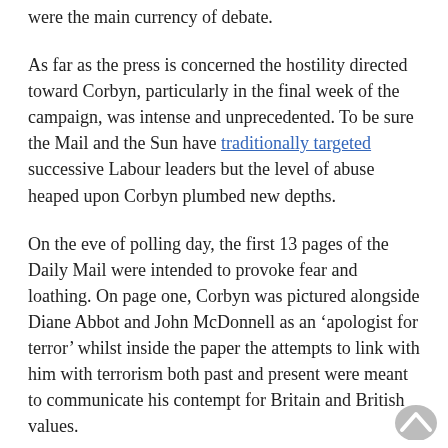were the main currency of debate.
As far as the press is concerned the hostility directed toward Corbyn, particularly in the final week of the campaign, was intense and unprecedented. To be sure the Mail and the Sun have traditionally targeted successive Labour leaders but the level of abuse heaped upon Corbyn plumbed new depths.
On the eve of polling day, the first 13 pages of the Daily Mail were intended to provoke fear and loathing. On page one, Corbyn was pictured alongside Diane Abbot and John McDonnell as an ‘apologist for terror’ whilst inside the paper the attempts to link with him with terrorism both past and present were meant to communicate his contempt for Britain and British values.
The Sun’s editorial was equally as damning encapsulating two years of anti Corbyn sentiment with this warning aimed at potential Labour voters: